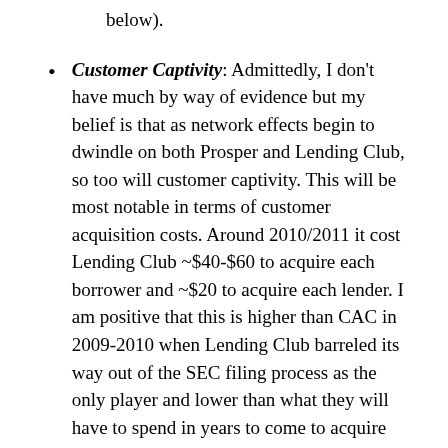below).
Customer Captivity: Admittedly, I don't have much by way of evidence but my belief is that as network effects begin to dwindle on both Prosper and Lending Club, so too will customer captivity. This will be most notable in terms of customer acquisition costs. Around 2010/2011 it cost Lending Club ~$40-$60 to acquire each borrower and ~$20 to acquire each lender. I am positive that this is higher than CAC in 2009-2010 when Lending Club barreled its way out of the SEC filing process as the only player and lower than what they will have to spend in years to come to acquire customers. Expect